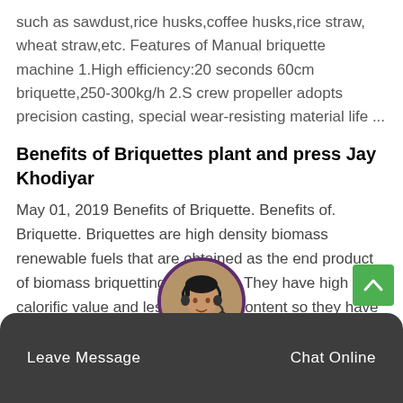such as sawdust,rice husks,coffee husks,rice straw, wheat straw,etc. Features of Manual briquette machine 1.High efficiency:20 seconds 60cm briquette,250-300kg/h 2.S crew propeller adopts precision casting, special wear-resisting material life ...
Benefits of Briquettes plant and press Jay Khodiyar
May 01, 2019 Benefits of Briquette. Benefits of. Briquette. Briquettes are high density biomass renewable fuels that are obtained as the end product of biomass briquetting machines. They have high calorific value and less moisture content so they have complete combustion. Briquettes are cheaper as compared to the other source of energy.
Leave Message   Chat Online